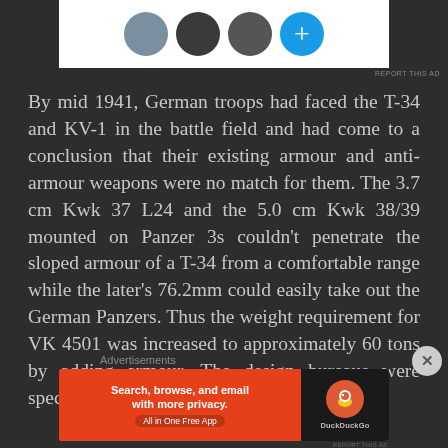[Figure (screenshot): Top portion of a web page showing an advertisement area with user avatars (three profile photos and a blue plus button) on a white background, followed by a 'REPORT THIS AD' link in gray text on dark background.]
By mid 1941, German troops had faced the T-34 and KV-1 in the battle field and had come to a conclusion that their existing armour and anti-armour weapons were no match for them. The 3.7 cm Kwk 37 L24 and the 5.0 cm Kwk 38/39 mounted on Panzer 3s couldn't penetrate the sloped armour of a T-34 from a comfortable range while the later's 76.2mm could easily take out the German Panzers. Thus the weight requirement for VK 4501 was increased to approximately 60 tons by adding armour. The design bureaus were specifically asked
[Figure (screenshot): Bottom advertisement banner showing 'Advertisements' label above a DuckDuckGo ad with orange background on left side reading 'Search, browse, and email with more privacy. All in One Free App' and dark right side with DuckDuckGo duck logo.]